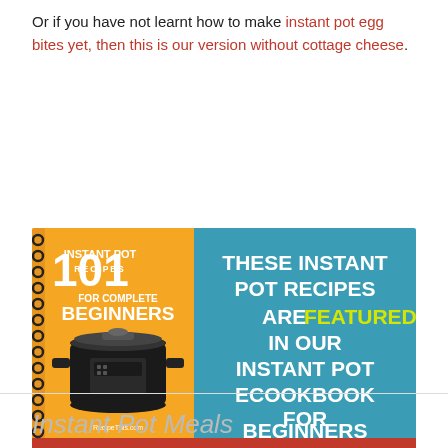Or if you have not learnt how to make instant pot egg bites yet, then this is our version without cottage cheese.
[Figure (infographic): Advertisement banner for '101 Instant Pot Recipes For Complete Beginners' ecookbook. Left side shows orange book cover with spiral binding and instant pot image. Right side on teal background reads 'These Instant Pot Recipes Are FEATURED In Our Instant Pot Ecookbook For Beginners'. Bottom red bar reads 'CLICK HERE FOR MORE DETAILS'.]
Instant Pot Meals